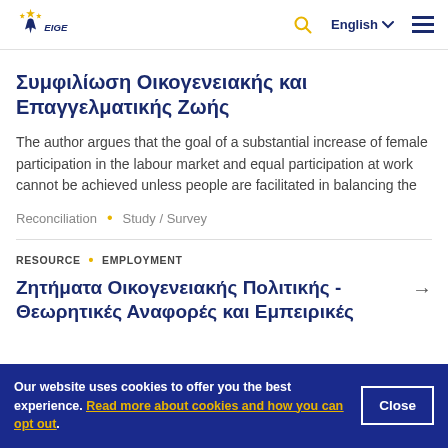EIGE – European Institute for Gender Equality | English
Συμφιλίωση Οικογενειακής και Επαγγελματικής Ζωής
The author argues that the goal of a substantial increase of female participation in the labour market and equal participation at work cannot be achieved unless people are facilitated in balancing the
Reconciliation • Study / Survey
RESOURCE • EMPLOYMENT
Ζητήματα Οικογενειακής Πολιτικής - Θεωρητικές Αναφορές και Εμπειρικές
Our website uses cookies to offer you the best experience. Read more about cookies and how you can opt out.